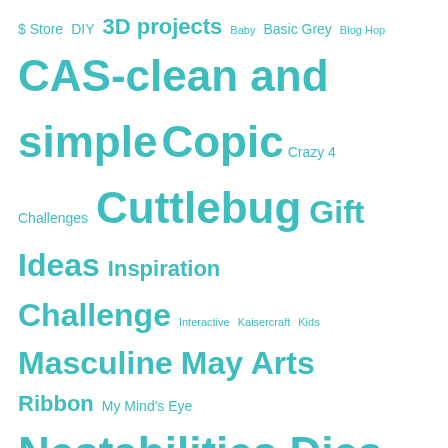$ Store DIY 3D projects Baby Basic Grey Blog Hop CAS-clean and simple Copic Crazy 4 Challenges Cuttlebug Gift Ideas Inspiration Challenge Interactive Kaisercraft Kids Masculine May Arts Ribbon My Mind's Eye Nestabilities Dies Other Crafts PDQ PTI Shabby Chic Simon Says Stamp Sketch Challenge Spellbinders Summer Swap-Bot Tips Vintage Wedding
- Instagram -
[Figure (photo): Two partially visible Instagram photos side by side — left is a grey/outdoor scene, right is a dark/black scene]